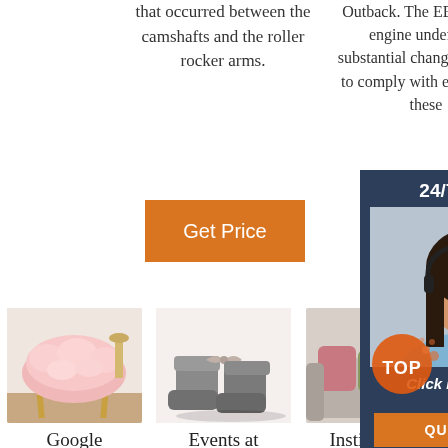that occurred between the camshafts and the roller rocker arms.
Outback. The EE20 diesel engine underwent substantial changes in 2014 to comply with emission– these
[Figure (other): Orange 'Get Price' button (center column)]
[Figure (other): Orange partial 'G...' button (right column)]
[Figure (other): 24/7 Online chat overlay with female customer service agent photo, 'Click here for free chat!' text and orange QUOTATION button]
[Figure (photo): Pink fluffy sheepskin chair cover on a gold chair]
[Figure (photo): Grey suede mini boots with bow]
[Figure (photo): Colorful cushions on a sofa]
Google Shopping
Events at the IDM
Institute Of Infectious